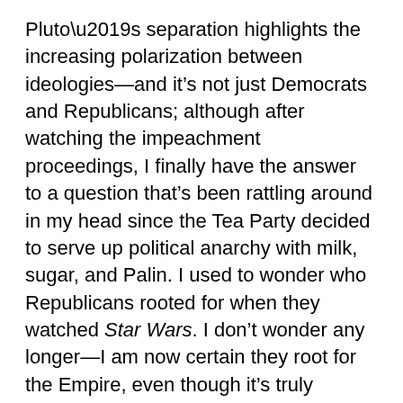Pluto’s separation highlights the increasing polarization between ideologies—and it’s not just Democrats and Republicans; although after watching the impeachment proceedings, I finally have the answer to a question that’s been rattling around in my head since the Tea Party decided to serve up political anarchy with milk, sugar, and Palin. I used to wonder who Republicans rooted for when they watched Star Wars. I don’t wonder any longer—I am now certain they root for the Empire, even though it’s truly difficult to imagine McConnell or Graham as Darth Vader. But… hey… in this world anything is possible.
Another source—and a less pernicious one—of this week’s organizational therapy is Jupiter’s presence in Capricorn. Jupiter’s innately philosophical nature, as well as its reliance on humor as a tool for objectivity and context, actually lightens the load a